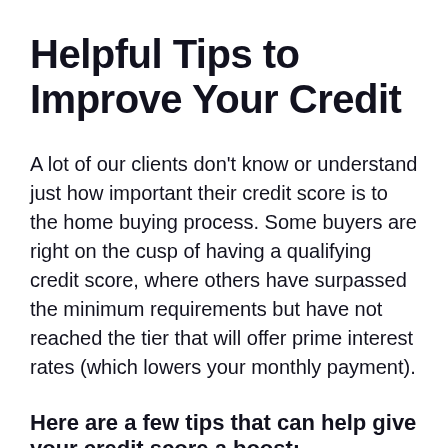Helpful Tips to Improve Your Credit
A lot of our clients don't know or understand just how important their credit score is to the home buying process. Some buyers are right on the cusp of having a qualifying credit score, where others have surpassed the minimum requirements but have not reached the tier that will offer prime interest rates (which lowers your monthly payment).
Here are a few tips that can help give your credit score a boost: